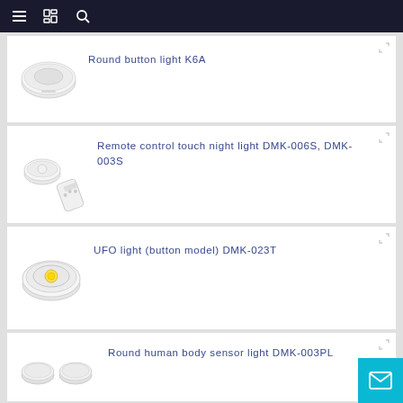Navigation bar with menu, catalog, and search icons
Round button light K6A
[Figure (photo): Round white button puck light K6A]
Remote control touch night light DMK-006S, DMK-003S
[Figure (photo): Round white touch night light with remote control DMK-006S DMK-003S]
UFO light (button model) DMK-023T
[Figure (photo): Round white UFO button light with yellow LED center DMK-023T]
Round human body sensor light DMK-003PL
[Figure (photo): Two round white human body sensor lights DMK-003PL]